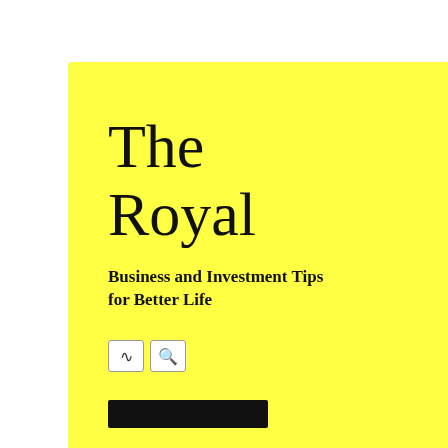The Royal
Business and Investment Tips for Better Life
You should above advi…
9 MONTHS
investing
investing m…
CATEGORIES
Busin…
Invest…
Marke…
Perso…
Perso…
Uncat…